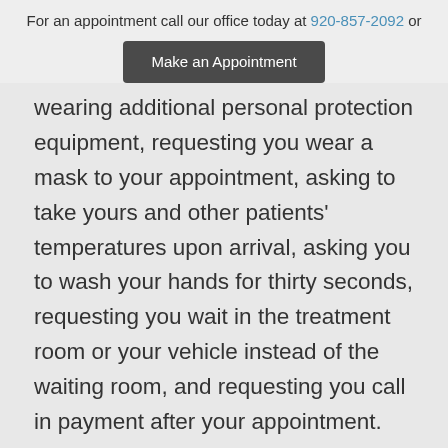For an appointment call our office today at 920-857-2092 or
Make an Appointment
wearing additional personal protection equipment, requesting you wear a mask to your appointment, asking to take yours and other patients' temperatures upon arrival, asking you to wash your hands for thirty seconds, requesting you wait in the treatment room or your vehicle instead of the waiting room, and requesting you call in payment after your appointment.